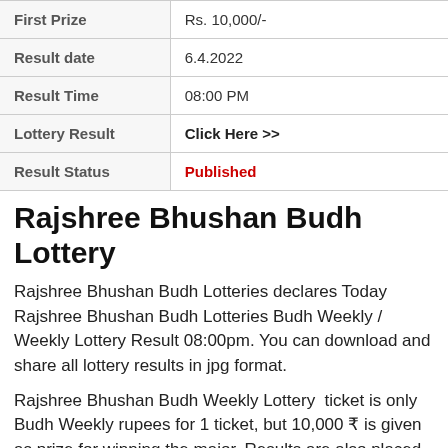|  |  |
| --- | --- |
| First Prize | Rs. 10,000/- |
| Result date | 6.4.2022 |
| Result Time | 08:00 PM |
| Lottery Result | Click Here >> |
| Result Status | Published |
Rajshree Bhushan Budh Lottery
Rajshree Bhushan Budh Lotteries declares Today Rajshree Bhushan Budh Lotteries Budh Weekly / Weekly Lottery Result 08:00pm. You can download and share all lottery results in jpg format.
Rajshree Bhushan Budh Weekly Lottery  ticket is only Budh Weekly rupees for 1 ticket, but 10,000 ₹ is given as prize for winning the major. Results are also placed